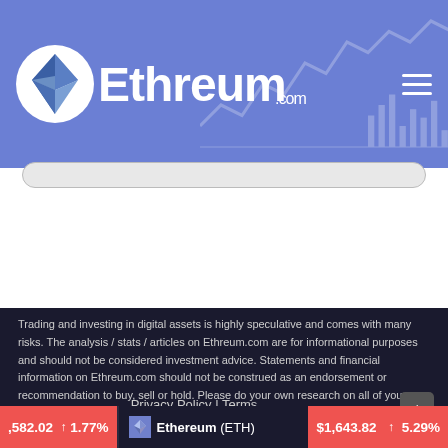[Figure (logo): Ethreum.com logo with Ethereum diamond icon in white circle and white wordmark on blue/purple background with faint chart graphics]
Trading and investing in digital assets is highly speculative and comes with many risks. The analysis / stats / articles on Ethreum.com are for informational purposes and should not be considered investment advice. Statements and financial information on Ethreum.com should not be construed as an endorsement or recommendation to buy, sell or hold. Please do your own research on all of your investments carefully.
Privacy Policy | Terms
↑582.02  ↑1.77%   Ethereum (ETH)  $1,643.82  ↑5.29%